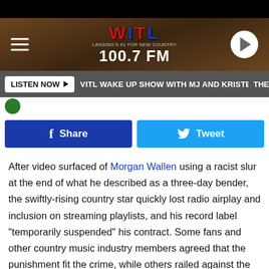[Figure (screenshot): WITL 100.7 FM radio station header banner with logo, hamburger menu, and play button]
LISTEN NOW ▶  VITL WAKE UP SHOW WITH MJ AND KRISTEN  THE
Share
Tweet
After video surfaced of Morgan Wallen using a racist slur at the end of what he described as a three-day bender, the swiftly-rising country star quickly lost radio airplay and inclusion on streaming playlists, and his record label "temporarily suspended" his contract. Some fans and other country music industry members agreed that the punishment fit the crime, while others railed against the singer's so-called cancellation.